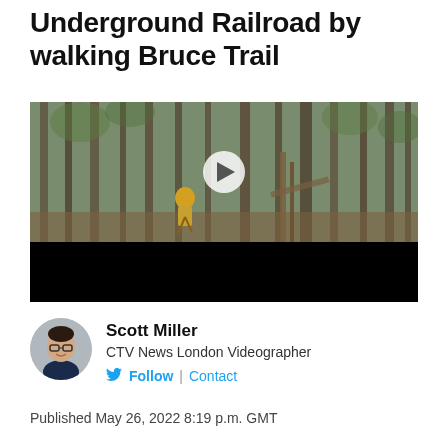Detroit native retracing Underground Railroad by walking Bruce Trail
[Figure (photo): Video thumbnail showing a hiker in a yellow jacket and hat walking on a forested trail with tall trees. A play button overlay is centered on the image. The lower portion of the video player is black.]
Scott Miller
CTV News London Videographer
Follow | Contact
Published May 26, 2022 8:19 p.m. GMT